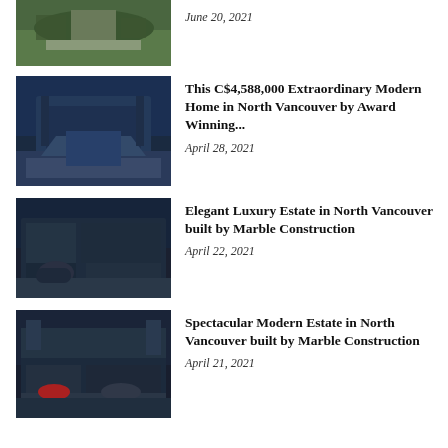[Figure (photo): Aerial view of a house with driveway and landscaping]
June 20, 2021
[Figure (photo): Modern luxury home at dusk in North Vancouver]
This C$4,588,000 Extraordinary Modern Home in North Vancouver by Award Winning...
April 28, 2021
[Figure (photo): Elegant luxury estate with sports car in driveway]
Elegant Luxury Estate in North Vancouver built by Marble Construction
April 22, 2021
[Figure (photo): Spectacular modern estate at dusk with red car]
Spectacular Modern Estate in North Vancouver built by Marble Construction
April 21, 2021